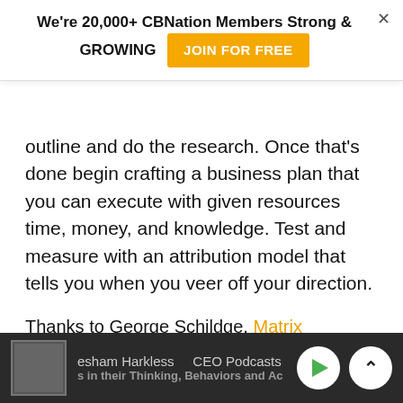[Figure (screenshot): Popup banner: 'We're 20,000+ CBNation Members Strong & GROWING' with a yellow 'JOIN FOR FREE' button and an X close icon]
outline and do the research. Once that's done begin crafting a business plan that you can execute with given resources time, money, and knowledge. Test and measure with an attribution model that tells you when you veer off your direction.
Thanks to George Schildge, Matrix Marketing Group!
Is business plan dead? Tell us your thoughts in the
esham Harkless | CEO Podcasts Hoste | s in their Thinking, Behaviors and Ac